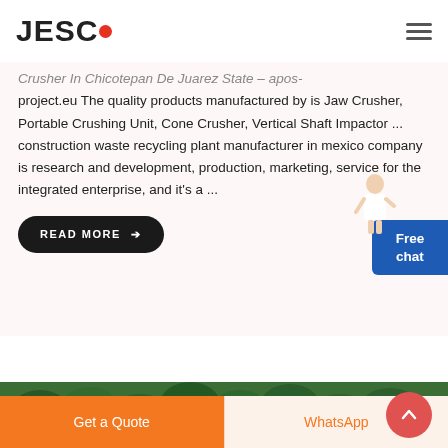JESCO
Crusher In Chicotepan De Juarez State - apos-project.eu The quality products manufactured by is Jaw Crusher, Portable Crushing Unit, Cone Crusher, Vertical Shaft Impactor ... construction waste recycling plant manufacturer in mexico company is research and development, production, marketing, service for the integrated enterprise, and it's a ...
READ MORE →
[Figure (photo): Aerial view of a dense green forest landscape]
Get a Quote
WhatsApp